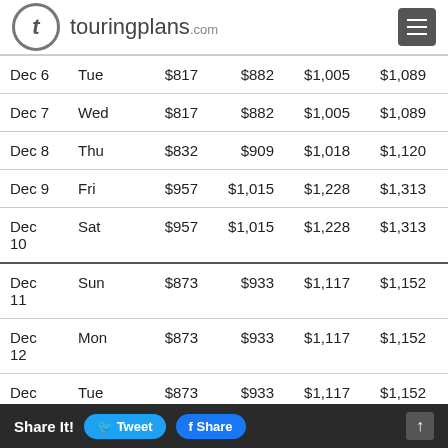touringplans.com
| Date | Day | Col1 | Col2 | Col3 | Col4 | Col5 | Col6 |
| --- | --- | --- | --- | --- | --- | --- | --- |
| Dec 6 | Tue | $817 | $882 | $1,005 | $1,089 | $1,112 | $1,2… |
| Dec 7 | Wed | $817 | $882 | $1,005 | $1,089 | $1,112 | $1,2… |
| Dec 8 | Thu | $832 | $909 | $1,018 | $1,120 | $1,148 | $1,3… |
| Dec 9 | Fri | $957 | $1,015 | $1,228 | $1,313 | $1,351 | $1,5… |
| Dec 10 | Sat | $957 | $1,015 | $1,228 | $1,313 | $1,351 | $1,5… |
| Dec 11 | Sun | $873 | $933 | $1,117 | $1,152 | $1,245 | $1,4… |
| Dec 12 | Mon | $873 | $933 | $1,117 | $1,152 | $1,245 | $1,4… |
| Dec 13 | Tue | $873 | $933 | $1,117 | $1,152 | $1,245 | $1,4… |
| Dec 14 | … | … | … | $1,117 | $1,152 | $1,245 | $1,… |